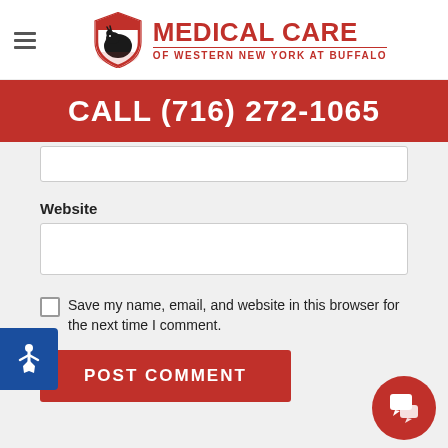[Figure (logo): Medical Care of Western New York at Buffalo logo with shield icon showing a bison silhouette]
CALL (716) 272-1065
Website
Save my name, email, and website in this browser for the next time I comment.
POST COMMENT